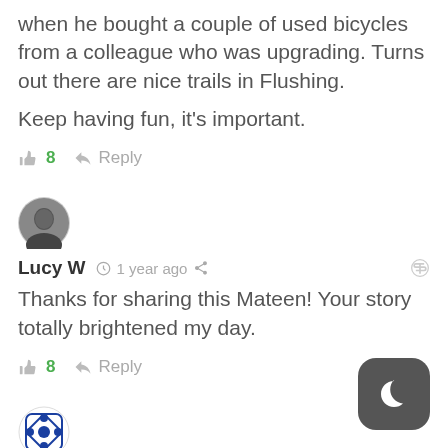when he bought a couple of used bicycles from a colleague who was upgrading. Turns out there are nice trails in Flushing.
Keep having fun, it’s important.
👍 8   ▶ Reply
[Figure (photo): User avatar for Lucy W - circular photo of a person]
Lucy W  ⏰ 1 year ago  〈share〉  🔗
Thanks for sharing this Mateen! Your story totally brightened my day.
👍 8   ▶ Reply
[Figure (logo): User avatar for Ricky - blue decorative icon with diamond/cross pattern]
Ricky  ⏰ 1 year ago  〈share〉  🔗
So great to see my friend in that pic!
[Figure (other): Dark mode toggle button - dark rounded square with crescent moon icon]